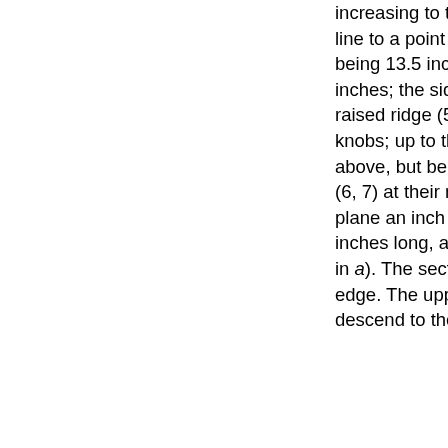increasing to the right. b, Upper surface projects backward in the middle line to a point (1) and forwards to a point (2), the distance between them being 13.5 inches; the aft width at (3) is 3.3 inches and at (4) it is 5.1 inches; the side edges between (3 and 4) are both 10.5 inches long. A raised ridge (5) is left in the middle line to be subsequenty trimmed into knobs; up to the right edge (4, 2, 4) of the surface, the stern piece is solid above, but below and beyond that it is hollowed out to leave the two sides (6, 7) at their normal thickness; the upper edges of the sides are on a plane an inch lower than the solid upper surface; the left side (6) is 6.75 inches long, an inch more than the right side (7). c, Cross section at line (1 in a). The section is through the solid part on the extreme left of the lower edge. The upper surface is 4.2 inches wide. The sides curve in and descend to the narrow width of 1.3 inches which corresponds to the